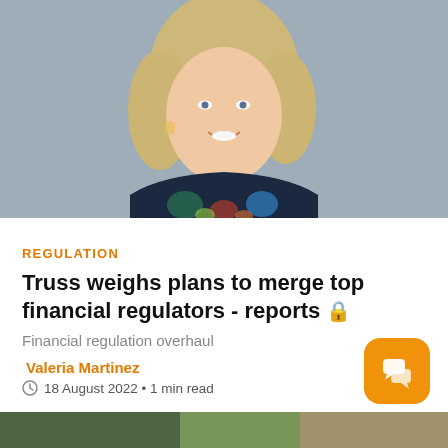[Figure (photo): Portrait photo of a blonde woman smiling, wearing a dark floral/tropical print top, against a grey background]
REGULATION
Truss weighs plans to merge top financial regulators - reports 🔒
Financial regulation overhaul
Valeria Martinez
18 August 2022 • 1 min read
[Figure (photo): Partial bottom photo strip, green and tan tones, partially visible]